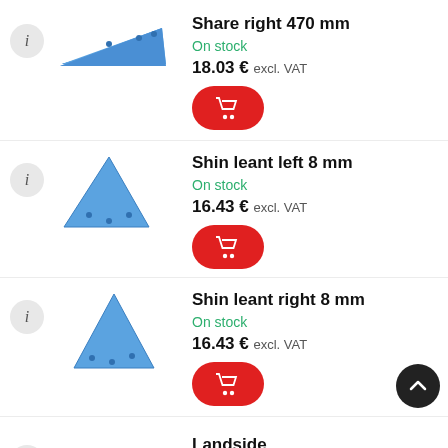[Figure (photo): Blue plow share right 470mm part]
Share right 470 mm
On stock
18.03 € excl. VAT
[Figure (photo): Blue shin leant left 8mm triangular part]
Shin leant left 8 mm
On stock
16.43 € excl. VAT
[Figure (photo): Blue shin leant right 8mm triangular part]
Shin leant right 8 mm
On stock
16.43 € excl. VAT
Landside
On stock